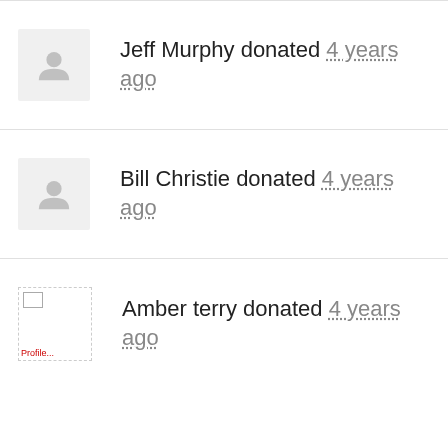Jeff Murphy donated 4 years ago
Bill Christie donated 4 years ago
Amber terry donated 4 years ago